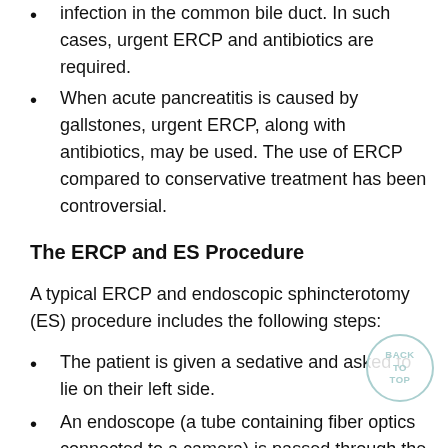infection in the common bile duct. In such cases, urgent ERCP and antibiotics are required.
When acute pancreatitis is caused by gallstones, urgent ERCP, along with antibiotics, may be used. The use of ERCP compared to conservative treatment has been controversial.
The ERCP and ES Procedure
A typical ERCP and endoscopic sphincterotomy (ES) procedure includes the following steps:
The patient is given a sedative and asked to lie on their left side.
An endoscope (a tube containing fiber optics connected to a camera) is passed through the mouth and stomach and into the duodenum (top part of the small intestine) until it reaches the point where the common bile duct enters. This